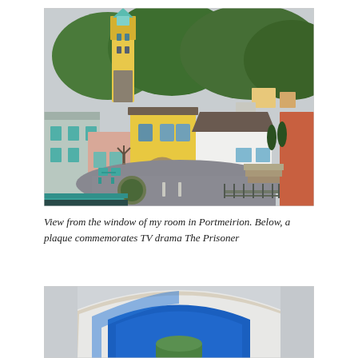[Figure (photo): Aerial/elevated view of Portmeirion village showing colorful buildings including a yellow clock tower, white cottage, teal-windowed houses, cobblestone plaza with teal café chairs, surrounded by green trees on a hillside. Overcast sky.]
View from the window of my room in Portmeirion. Below, a plaque commemorates TV drama The Prisoner
[Figure (photo): Close-up of a circular archway or plaque with blue and white colors, partially cropped, appearing to be at Portmeirion village.]